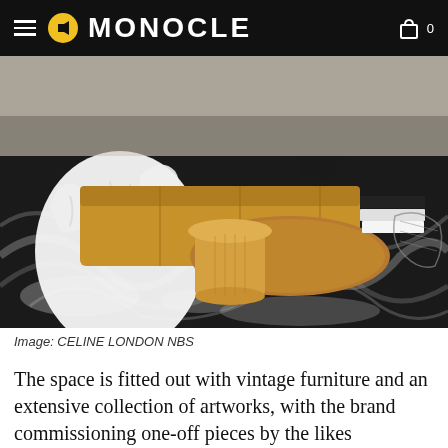MONOCLE
[Figure (photo): Interior room with black and white marble floor, a curved wooden bench with tan leather cushion, a white fluffy chair cover draped over a low wooden chair, a wooden mushroom-shaped side table in the center, and decorative objects including books and a dark sculptural piece on a second wooden coffee table in the background.]
Image: CELINE LONDON NBS
The space is fitted out with vintage furniture and an extensive collection of artworks, with the brand commissioning one-off pieces by the likes